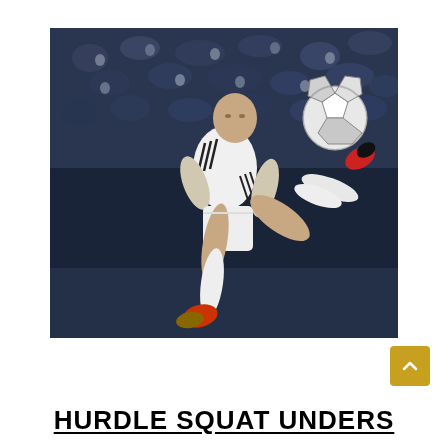[Figure (photo): A soccer player in a white Real Madrid kit performing an acrobatic volley kick, with the ball visible in the upper right. The player is mid-air with one leg raised high. The background shows a crowded stadium with spectators out of focus.]
HURDLE SQUAT UNDERS